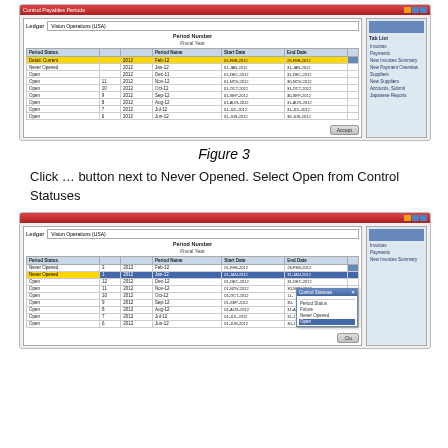[Figure (screenshot): Screenshot of Control Payables Periods dialog showing a table of fiscal periods with Period Status, Period Number, Fiscal Year, Period Name, Start Date, End Date columns. One row is highlighted in gold (current period), one in blue (selected). A sidebar shows Tab List with items like Invoices, Payments, New Invoices Summary, New Payment Overview, Suppliers, New Suppliers, Accounts, Submit, Japanese Reports.]
Figure 3
Click … button next to Never Opened. Select Open from Control Statuses
[Figure (screenshot): Second screenshot of Control Payables Periods dialog, similar table layout. A Control Statuses popup is visible overlaid on the dialog, showing options: (blank), Period Status, Future, Never Opened, Open (highlighted in blue).]